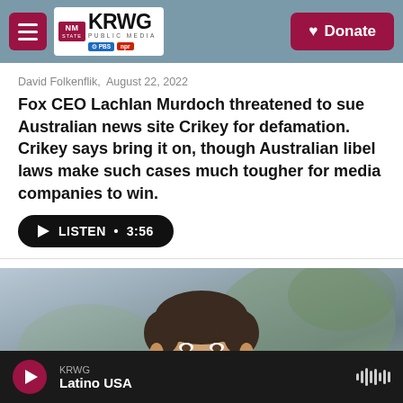KRWG PUBLIC MEDIA | Donate
David Folkenflik,  August 22, 2022
Fox CEO Lachlan Murdoch threatened to sue Australian news site Crikey for defamation. Crikey says bring it on, though Australian libel laws make such cases much tougher for media companies to win.
LISTEN • 3:56
[Figure (photo): Photo of Lachlan Murdoch, a middle-aged man in a vest, looking slightly upward, with blurred green background]
KRWG Latino USA